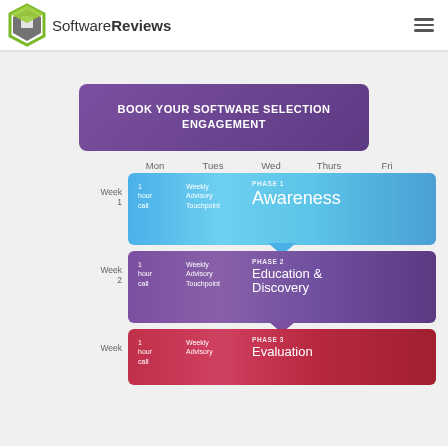SoftwareReviews
BOOK YOUR SOFTWARE SELECTION ENGAGEMENT
[Figure (infographic): Weekly schedule infographic showing a calendar grid with Mon-Fri columns and Week 1/Week 2/Week 3 rows. Each week row has a colored horizontal phase bar (blue for Phase 1 Awareness, purple for Phase 2 Education & Discovery, red for Phase 3 Evaluation) with connected arrows between rows. Each bar shows '1 hour call', 'Weekly Advisory Touchpoint', and the phase name.]